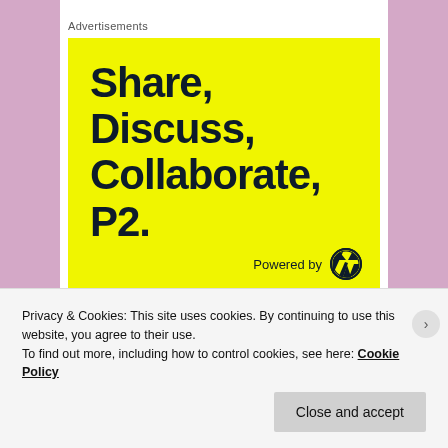Advertisements
[Figure (illustration): Yellow advertisement banner for P2 by WordPress. Text reads: Share, Discuss, Collaborate, P2. Powered by WordPress logo.]
REPORT THIS AD
Posted in Uncategorized | Tagged a, applier, avatar,
Privacy & Cookies: This site uses cookies. By continuing to use this website, you agree to their use.
To find out more, including how to control cookies, see here: Cookie Policy
Close and accept